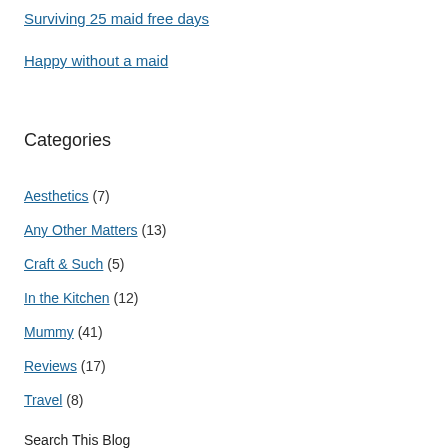Surviving 25 maid free days
Happy without a maid
Categories
Aesthetics (7)
Any Other Matters (13)
Craft & Such (5)
In the Kitchen (12)
Mummy (41)
Reviews (17)
Travel (8)
Search This Blog